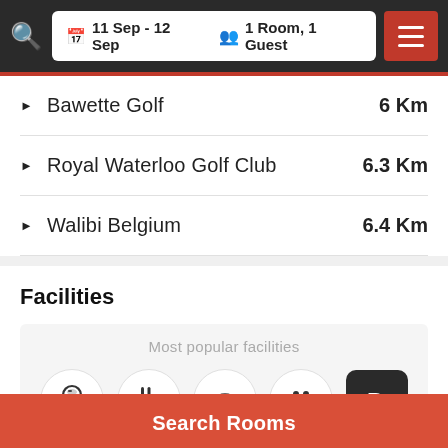11 Sep - 12 Sep  1 Room, 1 Guest
Bawette Golf  6 Km
Royal Waterloo Golf Club  6.3 Km
Walibi Belgium  6.4 Km
Facilities
Most popular facilities
[Figure (infographic): Row of facility icons: restaurant/bar, dining, wifi, pets, parking]
Search Rooms